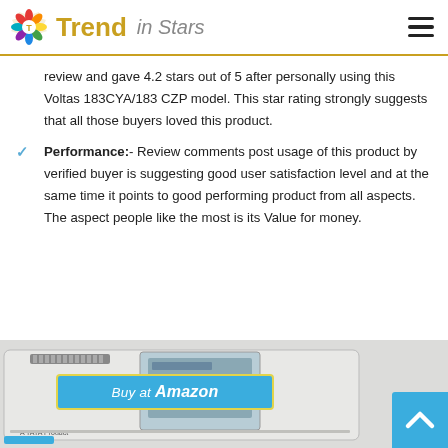Trend in Stars
review and gave 4.2 stars out of 5 after personally using this Voltas 183CYA/183 CZP model. This star rating strongly suggests that all those buyers loved this product.
Performance:- Review comments post usage of this product by verified buyer is suggesting good user satisfaction level and at the same time it points to good performing product from all aspects. The aspect people like the most is its Value for money.
[Figure (photo): Photo of Voltas 183CYA/183 CZP air conditioner unit with a 'Buy at Amazon' banner overlay and an up-arrow navigation button in the corner.]